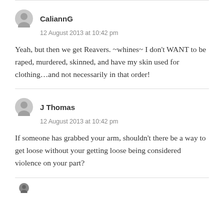CaliannG
12 August 2013 at 10:42 pm
Yeah, but then we get Reavers. ~whines~ I don't WANT to be raped, murdered, skinned, and have my skin used for clothing...and not necessarily in that order!
J Thomas
12 August 2013 at 10:42 pm
If someone has grabbed your arm, shouldn't there be a way to get loose without your getting loose being considered violence on your part?